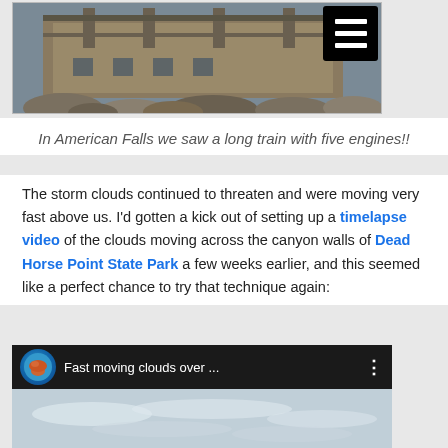[Figure (photo): Photo of an industrial or historical building structure with rocky foreground, with a black hamburger menu button overlay in the top-right corner]
In American Falls we saw a long train with five engines!!
The storm clouds continued to threaten and were moving very fast above us. I’d gotten a kick out of setting up a timelapse video of the clouds moving across the canyon walls of Dead Horse Point State Park a few weeks earlier, and this seemed like a perfect chance to try that technique again:
[Figure (screenshot): YouTube video thumbnail showing 'Fast moving clouds over ...' with a circular channel icon and a sky background with clouds]